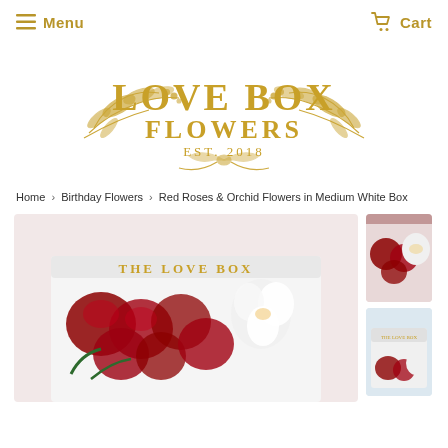Menu   Cart
[Figure (logo): Love Box Flowers logo with gold decorative leaves and bow, EST. 2018]
Home › Birthday Flowers › Red Roses & Orchid Flowers in Medium White Box
[Figure (photo): Product photo of flowers in a white box labeled THE LOVE BOX, with red roses and white orchids visible]
[Figure (photo): Thumbnail photo of red roses and white orchid flowers in box]
[Figure (photo): Thumbnail photo of flowers in white box, second view]